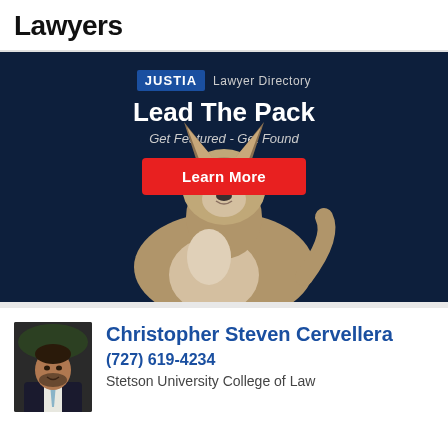Lawyers
[Figure (infographic): Justia Lawyer Directory advertisement banner with dark navy background, wolf photo, text 'Lead The Pack - Get Featured - Get Found' and a red 'Learn More' button]
Christopher Steven Cervellera
(727) 619-4234
Stetson University College of Law